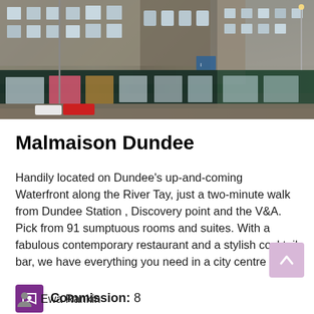[Figure (photo): Street-level photograph of Malmaison Dundee hotel building exterior, showing a stone Victorian-era building on a waterfront street with cars and city backdrop]
Malmaison Dundee
Handily located on Dundee's up-and-coming Waterfront along the River Tay, just a two-minute walk from Dundee Station , Discovery point and the V&A.
Pick from 91 sumptuous rooms and suites. With a fabulous contemporary restaurant and a stylish cocktail bar, we have everything you need in a city centre hotel.
Commission: 8
Ewa Rankin